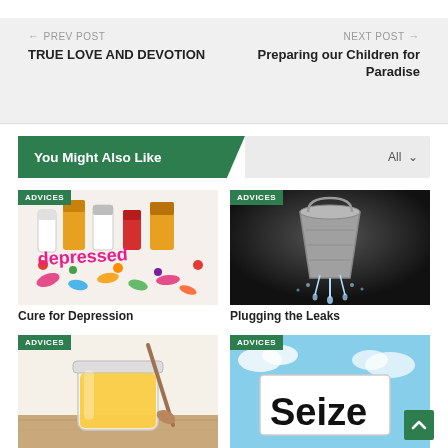← PREV POST
TRUE LOVE AND DEVOTION
NEXT POST →
Preparing our Children for Paradise
You Might Also Like
[Figure (photo): Pills and medications spelling 'depressed' with colorful pills and bottles]
ADVICES
Cure for Depression
[Figure (photo): Black and white photo of a metal bucket with water leaking]
ADVICES
Plugging the Leaks
[Figure (photo): Honey or oil in a glass jar with a wooden spoon]
ADVICES
[Figure (photo): Sign reading 'Seize' against a blue sky]
ADVICES